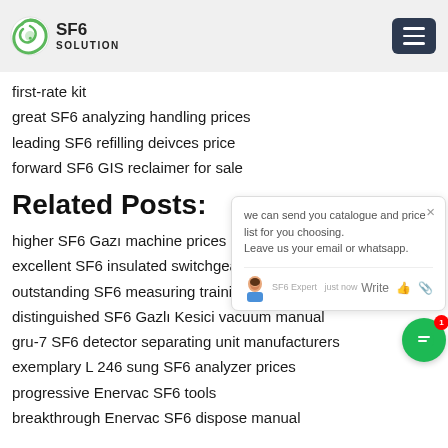SF6 SOLUTION
first-rate kit
great SF6 analyzing handling prices
leading SF6 refilling deivces price
forward SF6 GIS reclaimer for sale
Related Posts:
higher SF6 Gazı machine prices
excellent SF6 insulated switchgear ...
outstanding SF6 measuring training for sale
distinguished SF6 Gazlı Kesici vacuum manual
gru-7 SF6 detector separating unit manufacturers
exemplary L 246 sung SF6 analyzer prices
progressive Enervac SF6 tools
breakthrough Enervac SF6 dispose manual